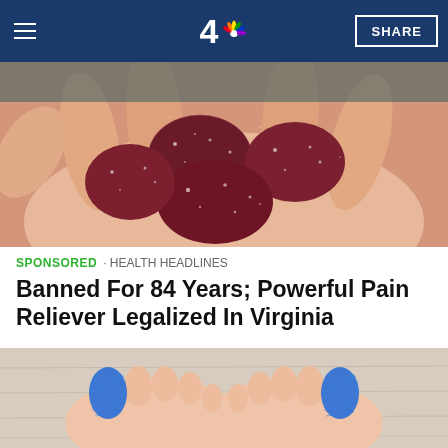NBC 4 - SHARE
[Figure (photo): Close-up of dark red/purple gummy candies dusted with sugar being held in a person's hand]
SPONSORED · HEALTH HEADLINES
Banned For 84 Years; Powerful Pain Reliever Legalized In Virginia
[Figure (photo): Person's feet with big toes wrapped in blue bandages/tape on a light wooden floor]